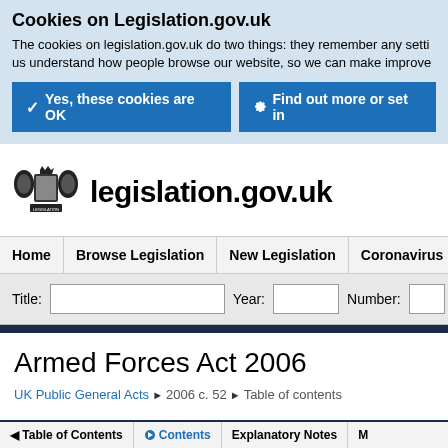Cookies on Legislation.gov.uk
The cookies on legislation.gov.uk do two things: they remember any settings you set and help us understand how people browse our website, so we can make improvements.
Yes, these cookies are OK
Find out more or set individual cookie preferences
[Figure (logo): UK Government legislation.gov.uk logo with royal crest]
legislation.gov.uk
Home | Browse Legislation | New Legislation | Coronavirus Legislation
Title: [input] Year: [input] Number: [input]
Armed Forces Act 2006
UK Public General Acts ▶ 2006 c. 52 ▶ Table of contents
◄ Table of Contents  Contents  Explanatory Notes  More ▶